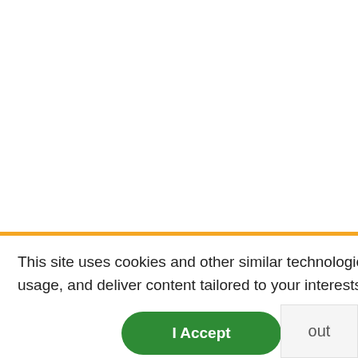This site uses cookies and other similar technologies to provide site functionality, analyze traffic and usage, and deliver content tailored to your interests. | Learn More
I Accept